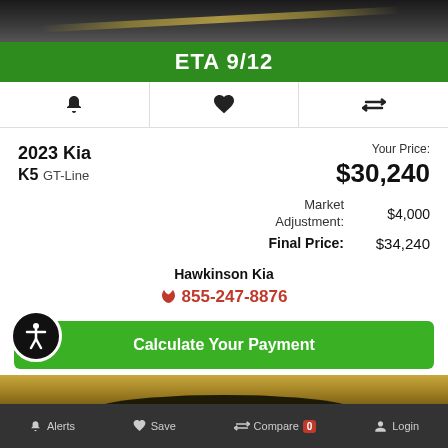[Figure (photo): Dark road/landscape photo at top of page]
ETA 9/12
[Figure (infographic): Icon row with bell, heart, and compare icons]
2023 Kia K5 GT-Line
Your Price: $30,240
Market Adjustment: $4,000
Final Price: $34,240
Hawkinson Kia
855-247-8876
Calculate Your Payment
[Figure (photo): Gold/yellow landscape photo at bottom]
Alerts  Save  Compare 0  Login